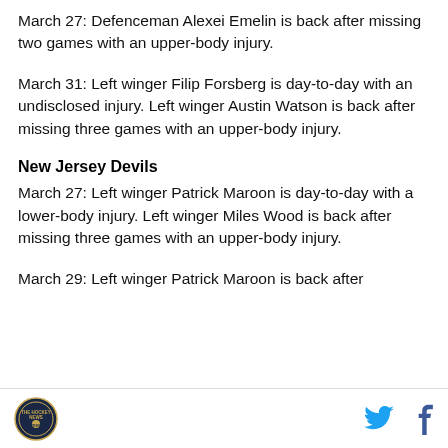March 27: Defenceman Alexei Emelin is back after missing two games with an upper-body injury.
March 31: Left winger Filip Forsberg is day-to-day with an undisclosed injury. Left winger Austin Watson is back after missing three games with an upper-body injury.
New Jersey Devils
March 27: Left winger Patrick Maroon is day-to-day with a lower-body injury. Left winger Miles Wood is back after missing three games with an upper-body injury.
March 29: Left winger Patrick Maroon is back after
Logo and social media icons